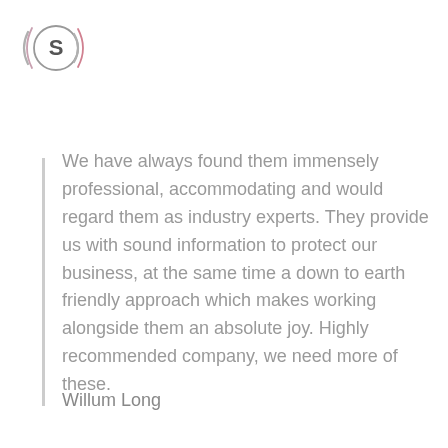[Figure (logo): Circular logo with letter S in the center surrounded by concentric arc lines, black and pink/red colors]
We have always found them immensely professional, accommodating and would regard them as industry experts. They provide us with sound information to protect our business, at the same time a down to earth friendly approach which makes working alongside them an absolute joy. Highly recommended company, we need more of these.
Willum Long